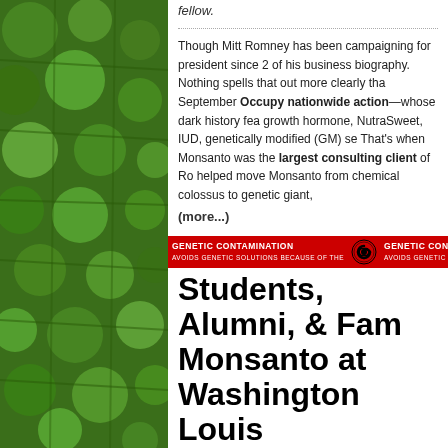fellow.
Though Mitt Romney has been campaigning for president since 2 of his business biography. Nothing spells that out more clearly tha September Occupy nationwide action—whose dark history fea growth hormone, NutraSweet, IUD, genetically modified (GM) se That's when Monsanto was the largest consulting client of Ro helped move Monsanto from chemical colossus to genetic giant,
(more...)
[Figure (infographic): Red banner strip with repeating GENETIC CONTAMINATION text and biohazard symbols]
Students, Alumni, & Fam Monsanto at Washington Louis Graduation Cerem
Posted: May 18th, 2012 | Filed under: Video | Tags: CEO, Commencement